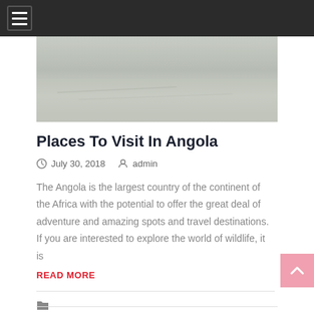Navigation bar with hamburger menu
[Figure (photo): Aerial or landscape photo showing a sandy/beige terrain, likely Angola landscape]
Places To Visit In Angola
July 30, 2018   admin
The Angola is the largest country of the continent of the Africa with the potential to offer the great deal of adventure and amazing spots and travel destinations. If you are interested to explore the world of wildlife, it is
READ MORE
Airlines, Blog, Flights, Tourism, Travel, Travel Guide, Travelling